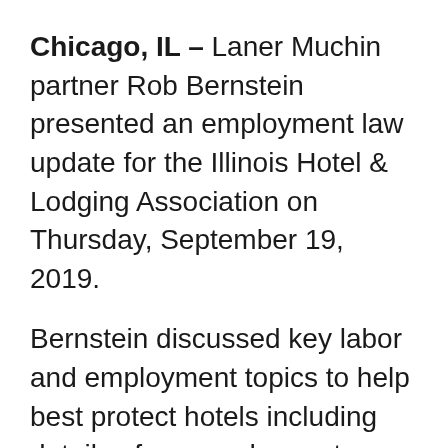Chicago, IL – Laner Muchin partner Rob Bernstein presented an employment law update for the Illinois Hotel & Lodging Association on Thursday, September 19, 2019.
Bernstein discussed key labor and employment topics to help best protect hotels including details of new and recent Illinois, Cook County and Chicago employment laws and their implications for IHLA hotel members. Such topics included: the Fair Workweek Ordinance, Illinois Workplace Transparency Act, Illinois Equal Pay Act Amendments, Illinois Cannabis Law...